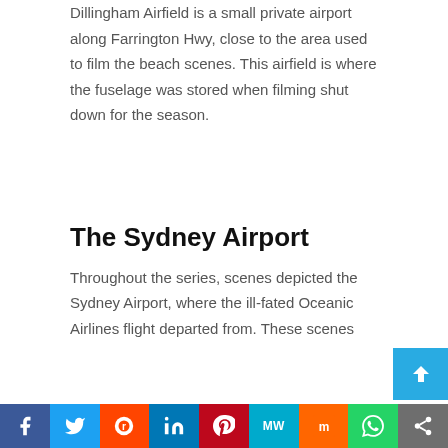Dillingham Airfield is a small private airport along Farrington Hwy, close to the area used to film the beach scenes. This airfield is where the fuselage was stored when filming shut down for the season.
The Sydney Airport
Throughout the series, scenes depicted the Sydney Airport, where the ill-fated Oceanic Airlines flight departed from. These scenes
f  Twitter  Reddit  in  Pinterest  MW  Mix  WhatsApp  Share